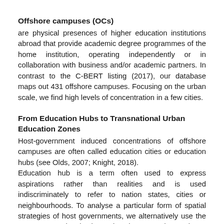Offshore campuses (OCs)
are physical presences of higher education institutions abroad that provide academic degree programmes of the home institution, operating independently or in collaboration with business and/or academic partners. In contrast to the C-BERT listing (2017), our database maps out 431 offshore campuses. Focusing on the urban scale, we find high levels of concentration in a few cities.
From Education Hubs to Transnational Urban Education Zones
Host-government induced concentrations of offshore campuses are often called education cities or education hubs (see Olds, 2007; Knight, 2018).
Education hub is a term often used to express aspirations rather than realities and is used indiscriminately to refer to nation states, cities or neighbourhoods. To analyse a particular form of spatial strategies of host governments, we alternatively use the term: Transnational Urban Education Zones (TUEZs).
TUEZs are designated by governments as territorially